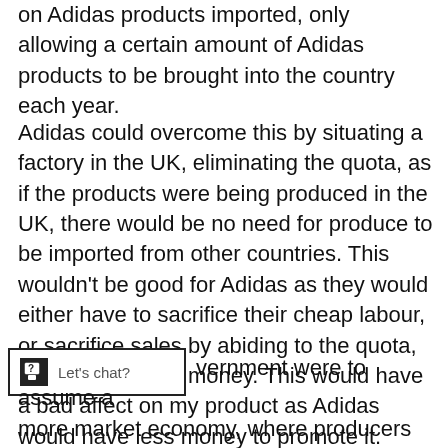on Adidas products imported, only allowing a certain amount of Adidas products to be brought into the country each year.
Adidas could overcome this by situating a factory in the UK, eliminating the quota, as if the products were being produced in the UK, there would be no need for produce to be imported from other countries. This wouldn't be good for Adidas as they would either have to sacrifice their cheap labour, or sacrifice sales by abiding to the quota, either way losing money. This would have a bad affect on my product as Adidas would have less money to promote it.
…vernment were to assume a more market economy, where producers